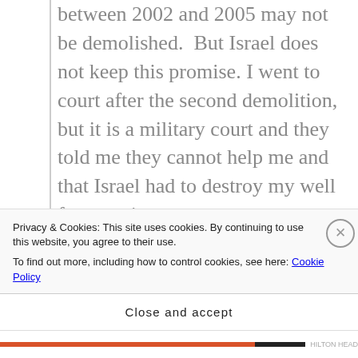between 2002 and 2005 may not be demolished. But Israel does not keep this promise. I went to court after the second demolition, but it is a military court and they told me they cannot help me and that Israel had to destroy my well for security reasons.

I am a farmer. I plant tomatoes, onions, cucumbers, melon, aubergines, peppers and many other things. Our sheep eat the foliage after we have harvested. Now we have no water and we cannot plant and our sheep
Privacy & Cookies: This site uses cookies. By continuing to use this website, you agree to their use.
To find out more, including how to control cookies, see here: Cookie Policy
Close and accept